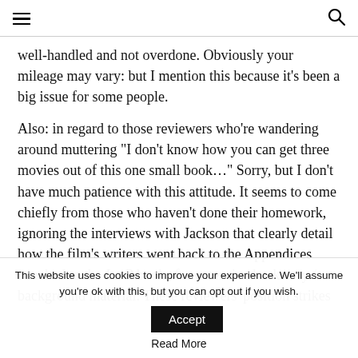≡  🔍
well-handled and not overdone. Obviously your mileage may vary: but I mention this because it's been a big issue for some people.
Also: in regard to those reviewers who're wandering around muttering "I don't know how you can get three movies out of this one small book…" Sorry, but I don't have much patience with this attitude. It seems to come chiefly from those who haven't done their homework, ignoring the interviews with Jackson that clearly detail how the film's writers went back to the Appendices attached to the LotR books for extensive backstory / background material. These reviewers' position strikes
This website uses cookies to improve your experience. We'll assume you're ok with this, but you can opt out if you wish.
Accept
Read More